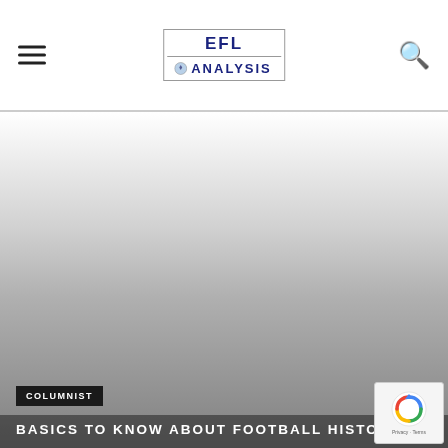EFL ANALYSIS
[Figure (photo): Hero image of a football field/stadium, fading from white/light gray at top to darker gray at bottom]
COLUMNIST
BASICS TO KNOW ABOUT FOOTBALL HISTORY